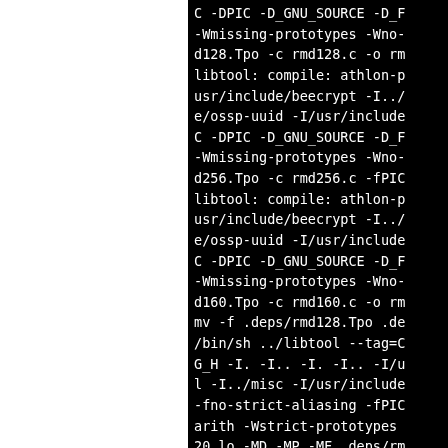[Figure (screenshot): Terminal/console output showing compiler libtool commands for building rmd128, rmd256, rmd160 cryptographic hash files, with flags like -DPIC -D_GNU_SOURCE, -Wmissing-prototypes, -Wno-, -fno-strict-aliasing, -fPIC, -Wstrict-prototypes, and libtool compile lines for athlon processor.]